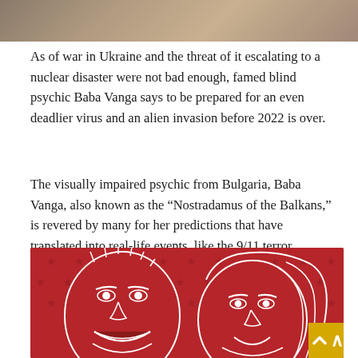[Figure (photo): Partial photo at top of page showing figures, cropped]
As of war in Ukraine and the threat of it escalating to a nuclear disaster were not bad enough, famed blind psychic Baba Vanga says to be prepared for an even deadlier virus and an alien invasion before 2022 is over.
The visually impaired psychic from Bulgaria, Baba Vanga, also known as the “Nostradamus of the Balkans,” is revered by many for her predictions that have translated into real-life events, like the 9/11 terror attacks, Brexit, the rise of ISIS, and much more.
[Figure (illustration): Red background illustration with white line-art caricatures of two faces (a man and a woman) with American flag stars pattern]